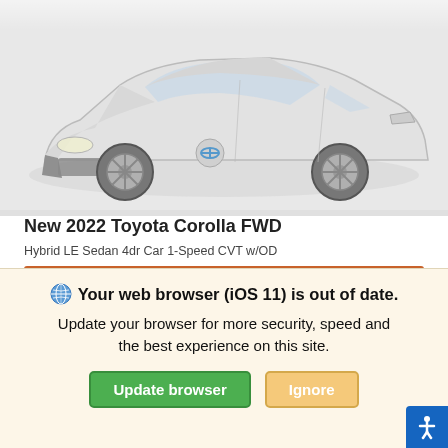[Figure (photo): White 2022 Toyota Corolla Hybrid sedan, front three-quarter view on light gray background]
New 2022 Toyota Corolla FWD
Hybrid LE Sedan 4dr Car 1-Speed CVT w/OD
| MSRP | $31,631 |
Your web browser (iOS 11) is out of date. Update your browser for more security, speed and the best experience on this site.
Update browser | Ignore